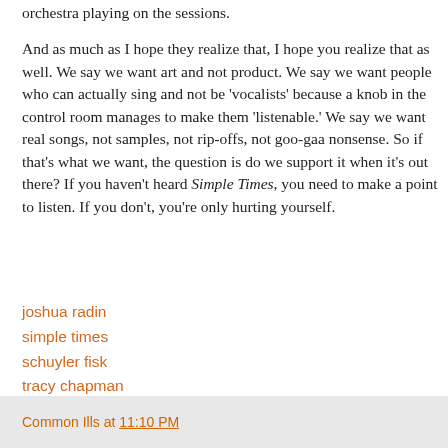orchestra playing on the sessions.
And as much as I hope they realize that, I hope you realize that as well. We say we want art and not product. We say we want people who can actually sing and not be 'vocalists' because a knob in the control room manages to make them 'listenable.' We say we want real songs, not samples, not rip-offs, not goo-gaa nonsense. So if that's what we want, the question is do we support it when it's out there? If you haven't heard Simple Times, you need to make a point to listen. If you don't, you're only hurting yourself.
joshua radin
simple times
schuyler fisk
tracy chapman
the third estate sunday review
kats korner
the common ills
Common Ills at 11:10 PM